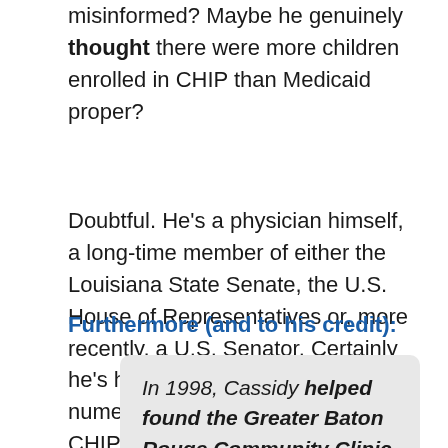misinformed? Maybe he genuinely thought there were more children enrolled in CHIP than Medicaid proper?
Doubtful. He's a physician himself, a long-time member of either the Louisiana State Senate, the U.S. House of Representatives or, more recently, a U.S. Senator. Certainly he's had to consider or vote on numerous bills involving Medicaid, CHIP or both over the years.
Furthermore (and to his credit):
In 1998, Cassidy helped found the Greater Baton Rouge Community Clinic to provide uninsured residents of the greater Baton Rouge area with